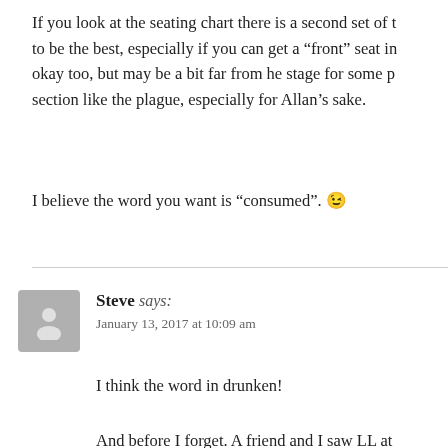If you look at the seating chart there is a second set of t… to be the best, especially if you can get a “front” seat in… okay too, but may be a bit far from he stage for some p… section like the plague, especially for Allan’s sake.
I believe the word you want is “consumed”. 😉
Steve says:
January 13, 2017 at 10:09 am
I think the word in drunken!
And before I forget. A friend and I saw LL at Chastain… Junior Brown and ever since I have a love of his style o…
The sofa is all but installed. Old dog sofa has found its… we can convince Z this is her bed. Good luck. The new…